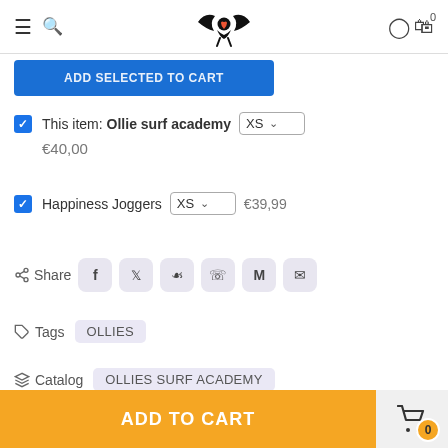Navigation header with menu, search, logo, account and cart icons
ADD SELECTED TO CART (partial blue button)
This item: Ollie surf academy XS €40,00
Happiness Joggers XS €39,99
Share (Facebook, Twitter, Pinterest, WhatsApp, Gmail, Messenger)
Tags OLLIES
Catalog OLLIES SURF ACADEMY
ADD TO CART 0